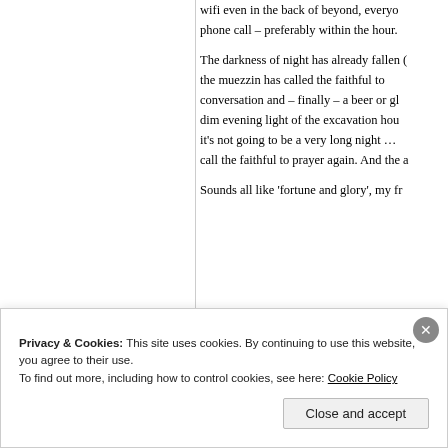wifi even in the back of beyond, everyone expects a response to an email or phone call – preferably within the hour.
The darkness of night has already fallen (or maybe not, since it's summer), the muezzin has called the faithful to prayer, there's time for conversation and – finally – a beer or glass of wine in the warm and dim evening light of the excavation house. This being an academic dig, it's not going to be a very long night … until the alarm rings at 4 to call the faithful to prayer again. And the archaeologists.
Sounds all like 'fortune and glory', my fr
[Figure (illustration): Handwritten cursive signature reading 'Sincerely yours' in dark blue ink]
Privacy & Cookies: This site uses cookies. By continuing to use this website, you agree to their use. To find out more, including how to control cookies, see here: Cookie Policy
Close and accept